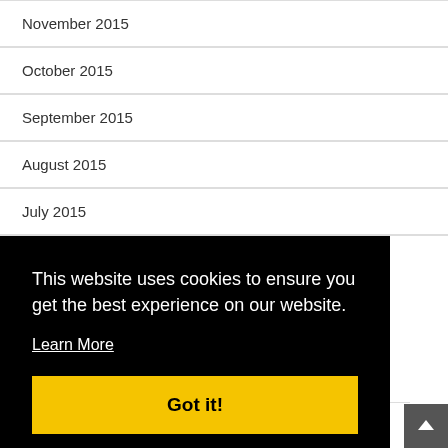November 2015
October 2015
September 2015
August 2015
July 2015
June 2015
This website uses cookies to ensure you get the best experience on our website.
Learn More
Got it!
December 2014